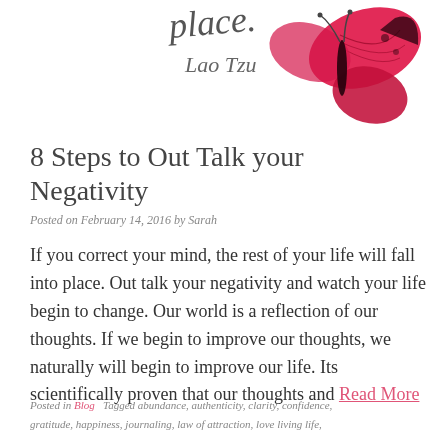[Figure (illustration): Decorative header with cursive script text 'place.' and 'Lao Tzu' with a pink/magenta butterfly illustration on the right side]
8 Steps to Out Talk your Negativity
Posted on February 14, 2016 by Sarah
If you correct your mind, the rest of your life will fall into place. Out talk your negativity and watch your life begin to change. Our world is a reflection of our thoughts. If we begin to improve our thoughts, we naturally will begin to improve our life. Its scientifically proven that our thoughts and Read More
Posted in Blog   Tagged abundance, authenticity, clarity, confidence, gratitude, happiness, journaling, law of attraction, love living life,